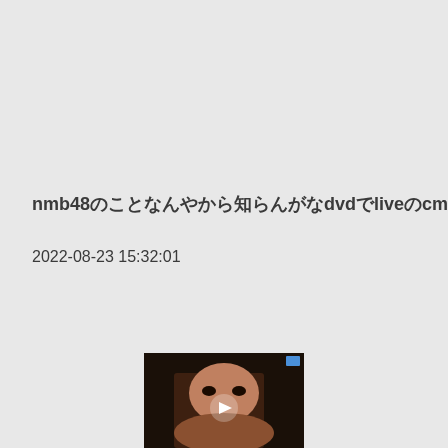nmb48のことなんやから知らんがなdvdでliveのcm
2022-08-23 15:32:01
[Figure (photo): Thumbnail image of a person, partially visible at the bottom of the page, with a play button icon and a small blue badge in the top-right corner.]